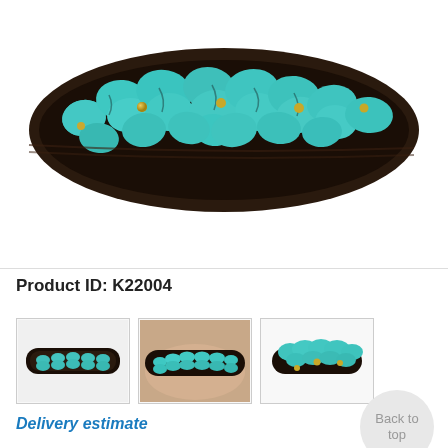[Figure (photo): Close-up photo of a turquoise stone and gold bead bracelet on dark woven cord background, showing chunky irregular turquoise nuggets with small gold accent beads woven on dark brown macrame cord.]
Product ID: K22004
[Figure (photo): Thumbnail image 1: bracelet laid flat showing small turquoise bead rows on black cord]
[Figure (photo): Thumbnail image 2: bracelet worn on wrist showing turquoise crystal beads on dark cord]
[Figure (photo): Thumbnail image 3: bracelet on white background showing turquoise bead cluster on dark cord]
Delivery estimate
Back to top